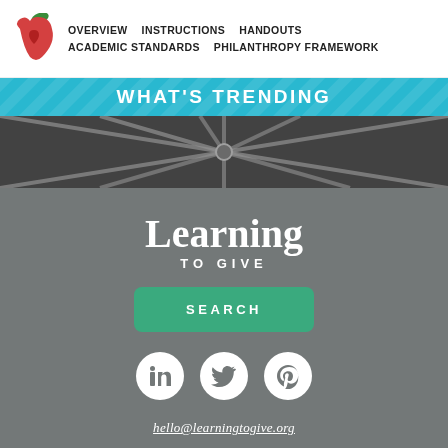OVERVIEW  INSTRUCTIONS  HANDOUTS  ACADEMIC STANDARDS  PHILANTHROPY FRAMEWORK
WHAT'S TRENDING
[Figure (photo): Close-up black and white photo of bicycle wheel spokes]
[Figure (logo): Learning TO GIVE logo with white serif text on gray background]
SEARCH
[Figure (infographic): Social media icons: LinkedIn, Twitter, Pinterest in white circles on gray background]
hello@learningtogive.org